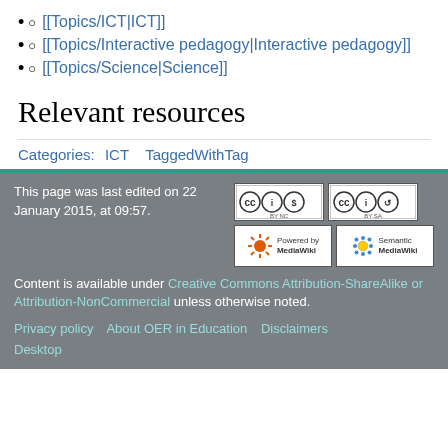[[Topics/ICT|ICT]]
[[Topics/Interactive pedagogy|Interactive pedagogy]]
[[Topics/Science|Science]]
Relevant resources
Categories: ICT  TaggedWithTag
This page was last edited on 22 January 2015, at 09:57. Content is available under Creative Commons Attribution-ShareAlike or Attribution-NonCommercial unless otherwise noted. Privacy policy  About OER in Education  Disclaimers  Desktop